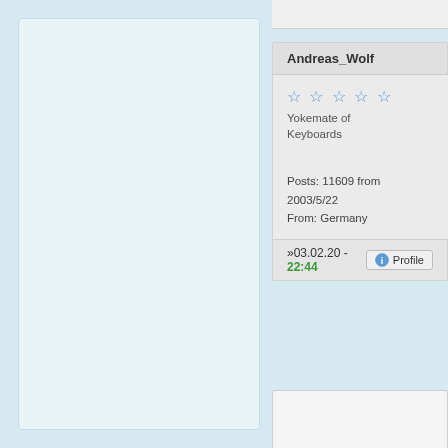[Figure (screenshot): Forum post card showing user Andreas_Wolf with star rating, rank 'Yokemate of Keyboards', post count 11609 from 2003/5/22, location Germany, timestamp 03.02.20 - 22:44, and a Profile button. Left side shows a light blue panel. Partial post content visible on right.]
Andreas_Wolf
Yokemate of Keyboards
Posts: 11609 from 2003/5/22
From: Germany
»03.02.20 - 22:44
> I w
Me n
rem